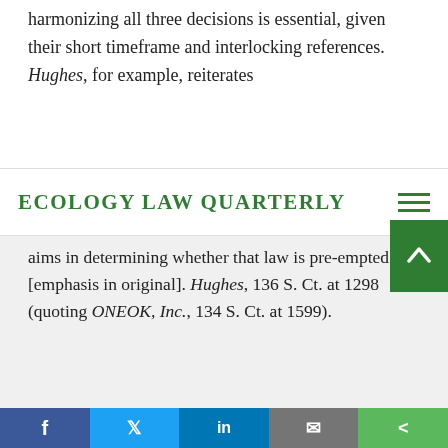harmonizing all three decisions is essential, given their short timeframe and interlocking references. Hughes, for example, reiterates
ECOLOGY LAW QUARTERLY
aims in determining whether that law is pre-empted.” [emphasis in original]. Hughes, 136 S. Ct. at 1298 (quoting ONEOK, Inc., 134 S. Ct. at 1599).
[33] Hammond, supra note 5, at 12.
[34]